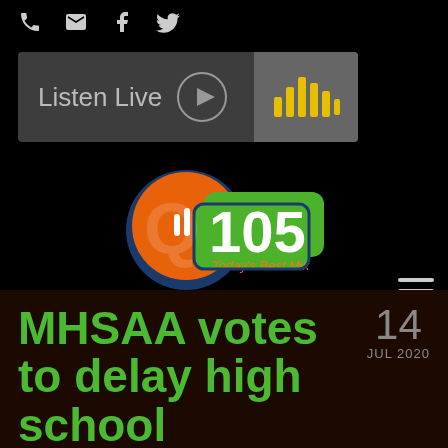[Figure (screenshot): Top icon bar with phone, email, facebook, and twitter icons]
[Figure (screenshot): Listen Live bar with play button and waveform graphic]
[Figure (logo): Q105 Today's Best Mix radio station logo - orange circle with green 105 text]
[Figure (screenshot): Hamburger menu icon (three horizontal lines)]
MHSAA votes to delay high school football season by two
14 JUL 2020